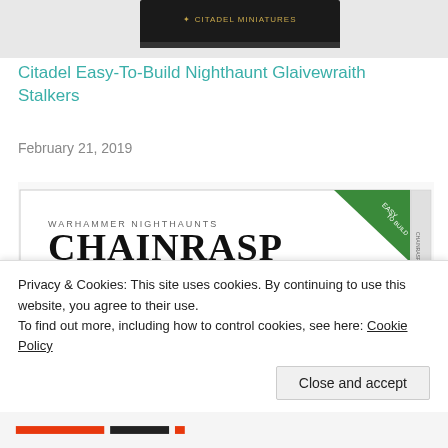[Figure (photo): Top portion of a product box for a Citadel miniatures set, partially visible at top of page]
Citadel Easy-To-Build Nighthaunt Glaivewraith Stalkers
February 21, 2019
[Figure (photo): Product box image for Warhammer Nighthaunt Chainrasp Hordes Easy-To-Build miniatures set, showing skeletal ghost figures on the box art with a green 'Easy To Build' corner banner]
Privacy & Cookies: This site uses cookies. By continuing to use this website, you agree to their use.
To find out more, including how to control cookies, see here: Cookie Policy
Close and accept